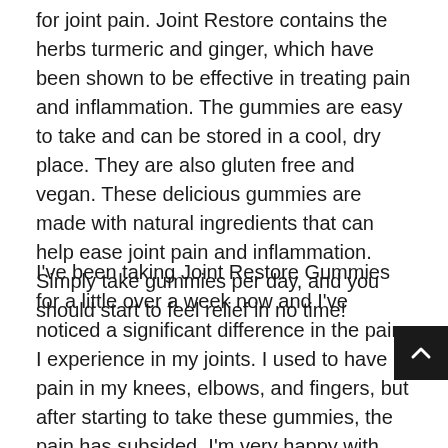for joint pain. Joint Restore contains the herbs turmeric and ginger, which have been shown to be effective in treating pain and inflammation. The gummies are easy to take and can be stored in a cool, dry place. They are also gluten free and vegan. These delicious gummies are made with natural ingredients that can help ease joint pain and inflammation. Simply take gummies per day, and you should start to feel relief in no time!
I've been taking Joint Restore Gummies for a little over a week now and I've noticed a significant difference in the pain I experience in my joints. I used to have pain in my knees, elbows, and fingers, but after starting to take these gummies, the pain has subsided. I'm very happy with this product and would recommend it to anyone who experiences joint pain.